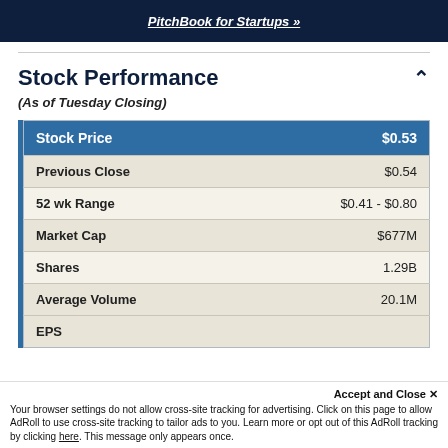[Figure (screenshot): Dark navy banner with italicized underlined white text: PitchBook for Startups »]
Stock Performance
(As of Tuesday Closing)
| Stock Price | $0.53 |
| --- | --- |
| Previous Close | $0.54 |
| 52 wk Range | $0.41 - $0.80 |
| Market Cap | $677M |
| Shares | 1.29B |
| Average Volume | 20.1M |
| EPS |  |
Accept and Close ✕
Your browser settings do not allow cross-site tracking for advertising. Click on this page to allow AdRoll to use cross-site tracking to tailor ads to you. Learn more or opt out of this AdRoll tracking by clicking here. This message only appears once.